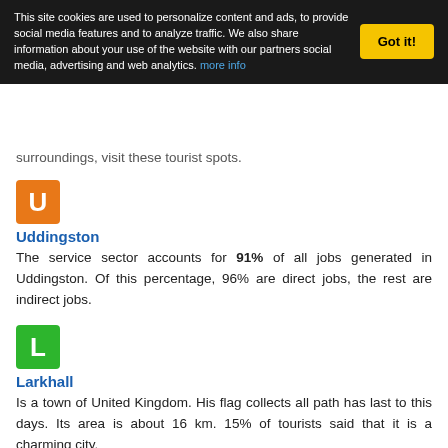This site cookies are used to personalize content and ads, to provide social media features and to analyze traffic. We also share information about your use of the website with our partners social media, advertising and web analytics. more info
surroundings, visit these tourist spots.
[Figure (other): Orange square icon with letter U for Uddingston]
Uddingston
The service sector accounts for 91% of all jobs generated in Uddingston. Of this percentage, 96% are direct jobs, the rest are indirect jobs.
[Figure (other): Green square icon with letter L for Larkhall]
Larkhall
Is a town of United Kingdom. His flag collects all path has last to this days. Its area is about 16 km. 15% of tourists said that it is a charming city.
[Figure (other): Red square icon with letter C for Carluke]
Carluke